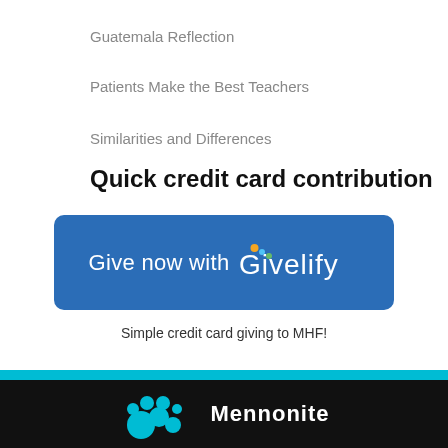Guatemala Reflection
Patients Make the Best Teachers
Similarities and Differences
Quick credit card contribution
[Figure (logo): Blue rounded rectangle button with white text 'Give now with Givelify' with colored dots above the letter i in Givelify]
Simple credit card giving to MHF!
[Figure (logo): Black footer bar with cyan divider stripe and Mennonite Health Foundation logo with teal paw print icon]